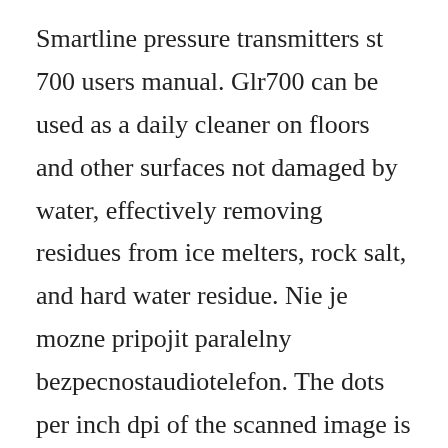Smartline pressure transmitters st 700 users manual. Glr700 can be used as a daily cleaner on floors and other surfaces not damaged by water, effectively removing residues from ice melters, rock salt, and hard water residue. Nie je mozne pripojit paralelny bezpecnostaudiotelefon. The dots per inch dpi of the scanned image is often the primary cause of a large pdf file. To show that the system is ready for programming, the panel will reproduce a sound and the lcd will display the message. If some pdf files dont render well or are blank, click the download